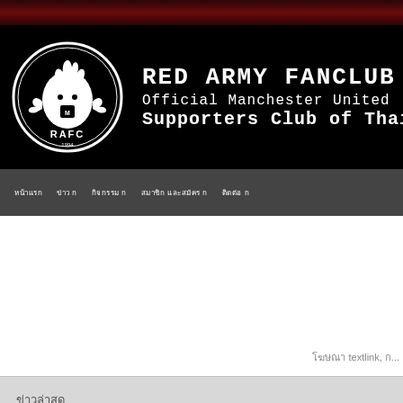[Figure (logo): RAFC Red Army Fanclub logo - circular white emblem with devil/flame figure and RAFC text, est. 1994, on black background]
RED ARMY FANCLUB
Official Manchester United Supporters Club of Thail...
Navigation bar with Thai language menu items and textlink
xxxxxxxx textlink, x...
xxxxxxxxxxxxxxx